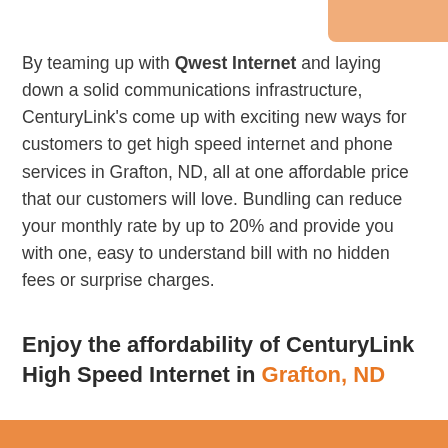By teaming up with Qwest Internet and laying down a solid communications infrastructure, CenturyLink's come up with exciting new ways for customers to get high speed internet and phone services in Grafton, ND, all at one affordable price that our customers will love. Bundling can reduce your monthly rate by up to 20% and provide you with one, easy to understand bill with no hidden fees or surprise charges.
Enjoy the affordability of CenturyLink High Speed Internet in Grafton, ND